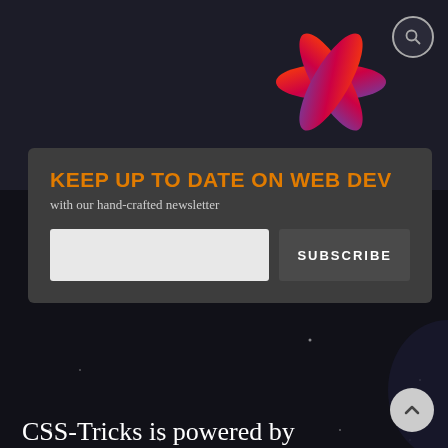[Figure (logo): CSS-Tricks asterisk/star logo in red-orange gradient on dark background, top right corner]
KEEP UP TO DATE ON WEB DEV
with our hand-crafted newsletter
CSS-Tricks is powered by DigitalOcean.
DIGITALOCEAN
DigitalOcean
DigitalOcean Community
CSS-TRICKS
Email
Guest Writing